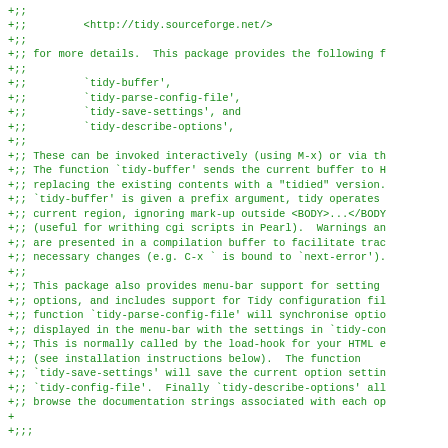+;;
+;;         <http://tidy.sourceforge.net/>
+;;
+;; for more details.  This package provides the following f
+;;
+;;         `tidy-buffer',
+;;         `tidy-parse-config-file',
+;;         `tidy-save-settings', and
+;;         `tidy-describe-options',
+;;
+;; These can be invoked interactively (using M-x) or via th
+;; The function `tidy-buffer' sends the current buffer to H
+;; replacing the existing contents with a "tidied" version.
+;; `tidy-buffer' is given a prefix argument, tidy operates
+;; current region, ignoring mark-up outside <BODY>...</BODY
+;; (useful for writhing cgi scripts in Pearl).  Warnings an
+;; are presented in a compilation buffer to facilitate trac
+;; necessary changes (e.g. C-x ` is bound to `next-error').
+;;
+;; This package also provides menu-bar support for setting
+;; options, and includes support for Tidy configuration fil
+;; function `tidy-parse-config-file' will synchronise optio
+;; displayed in the menu-bar with the settings in `tidy-con
+;; This is normally called by the load-hook for your HTML e
+;; (see installation instructions below).  The function
+;; `tidy-save-settings' will save the current option settin
+;; `tidy-config-file'.  Finally `tidy-describe-options' all
+;; browse the documentation strings associated with each op
+
+;;;
+
+;;;; Installation:
+